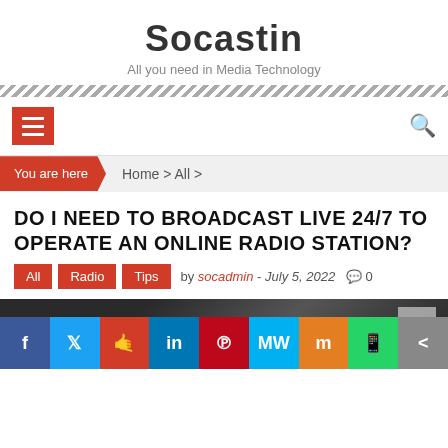Socastin
All you need in Media Technology
DO I NEED TO BROADCAST LIVE 24/7 TO OPERATE AN ONLINE RADIO STATION?
by socadmin - July 5, 2022  0
[Figure (screenshot): Dark-toned image partially visible at bottom of page with social sharing bar below]